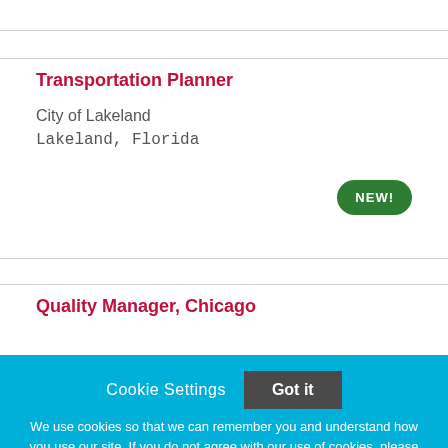Transportation Planner
City of Lakeland
Lakeland, Florida
NEW!
Quality Manager, Chicago
Cookie Settings
Got it
We use cookies so that we can remember you and understand how you use our site. If you do not agree with our use of cookies, please change the current settings found in our Cookie Policy. Otherwise, you agree to the use of the cookies as they are currently set.